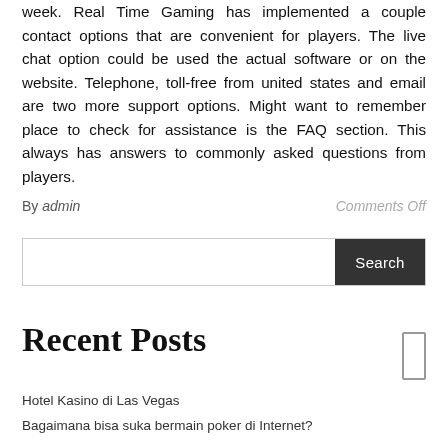week. Real Time Gaming has implemented a couple contact options that are convenient for players. The live chat option could be used the actual software or on the website. Telephone, toll-free from united states and email are two more support options. Might want to remember place to check for assistance is the FAQ section. This always has answers to commonly asked questions from players.
By admin   Comments Off
Recent Posts
Hotel Kasino di Las Vegas
Bagaimana bisa suka bermain poker di Internet?